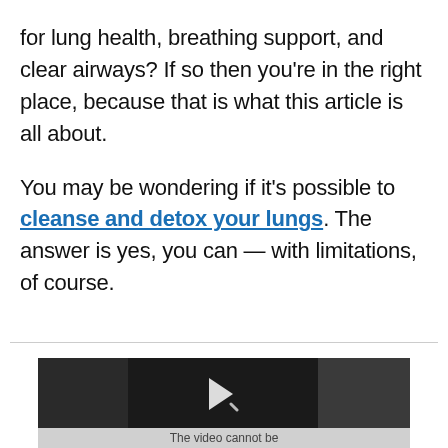for lung health, breathing support, and clear airways? If so then you're in the right place, because that is what this article is all about.
You may be wondering if it's possible to cleanse and detox your lungs. The answer is yes, you can — with limitations, of course.
[Figure (screenshot): A video player with a dark background showing a play button icon. Below it is a gray bar with the text 'The video cannot be' and an X close button on the right.]